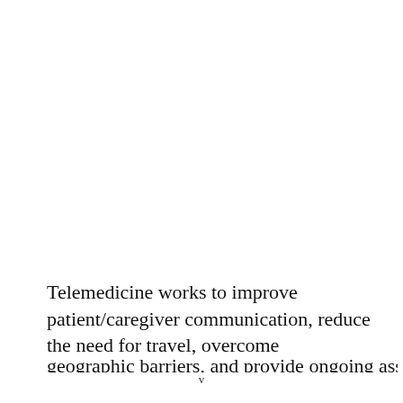Telemedicine works to improve patient/caregiver communication, reduce the need for travel, overcome geographic barriers, and provide ongoing assistance and
v